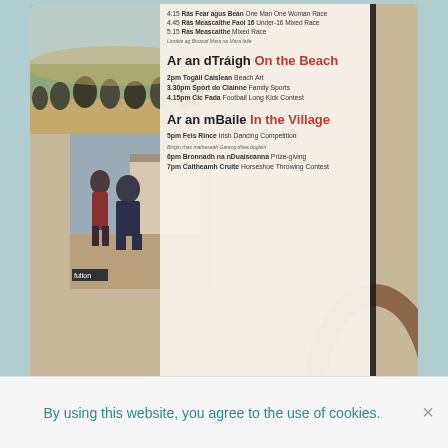[Figure (photo): Collage of event photos: beach crowd, man crouching near water, black-and-white boat rowing photo, decorative rusty ring; overlaid with event schedule text for an Irish cultural festival]
4.15 Rás Fear agus Bean One Man One Woman Race
4.45 Rás Meascaithe Faoi 16 Under-16 Mixed Race
5.15 Rás Meascaithe Mixed Race
(Lioráite ag Bioasaf Mara na Mara feile)
Ar an dTráigh On the Beach
2pm Togáil Caislean Beach Art
3.30pm Spórt do Clainne Family Sports
4.15pm Cic Fada Football Long Kick Contest
Ar an mBaile In the Village
5pm Feis Rince Irish Dancing Competition
(Bingin rhas matheseah Garang dhea doglein)
6pm Bronnadh na nDuaiseanna Prize-giving
7pm Caitheamh Cruite Horseshoe Throwing Contest
[Figure (logo): Teal and orange stylized logo with curved lines suggesting movement or waves]
By using this website, you agree to the use of cookies.